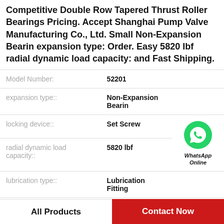Competitive Double Row Tapered Thrust Roller Bearings Pricing. Accept Shanghai Pump Valve Manufacturing Co., Ltd. Small Non-Expansion Bearin expansion type: Order. Easy 5820 lbf radial dynamic load capacity: and Fast Shipping.
| Property | Value |
| --- | --- |
| Model Number: | 52201 |
| expansion type:: | Non-Expansion Bearin |
| locking device:: | Set Screw |
| radial dynamic load capacity:: | 5820 lbf |
| lubrication type:: | Lubrication Fitting |
| bolt size:: | 1/2 |
| housing material:: | PBT Thermoplastic |
[Figure (logo): WhatsApp contact icon - green circle with phone handset, text 'WhatsApp Online']
All Products
Contact Now